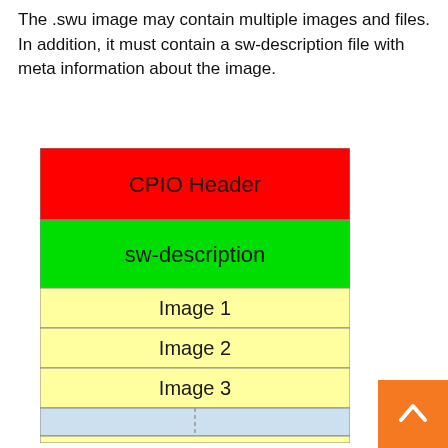The .swu image may contain multiple images and files. In addition, it must contain a sw-description file with meta information about the image.
[Figure (schematic): Diagram showing the structure of a .swu image file as stacked colored blocks: red CPIO Header block on top, green sw-description block below, then three yellow Image 1, Image 2, Image 3 blocks, followed by a partially visible light blue block with a dashed vertical divider, and a thin yellow block at the bottom.]